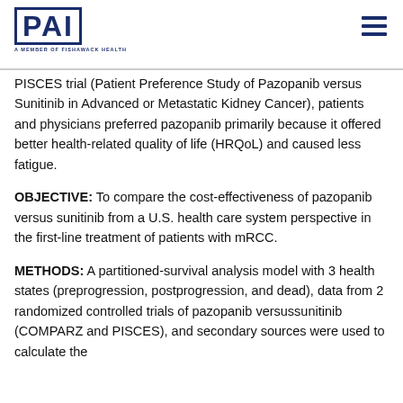[Figure (logo): PAI logo — bold blue letters PAI inside a rectangular border, with tagline 'A MEMBER OF FISHAWACK HEALTH' below]
PISCES trial (Patient Preference Study of Pazopanib versus Sunitinib in Advanced or Metastatic Kidney Cancer), patients and physicians preferred pazopanib primarily because it offered better health-related quality of life (HRQoL) and caused less fatigue.
OBJECTIVE: To compare the cost-effectiveness of pazopanib versus sunitinib from a U.S. health care system perspective in the first-line treatment of patients with mRCC.
METHODS: A partitioned-survival analysis model with 3 health states (preprogression, postprogression, and dead), data from 2 randomized controlled trials of pazopanib versussunitinib (COMPARZ and PISCES), and secondary sources were used to calculate the